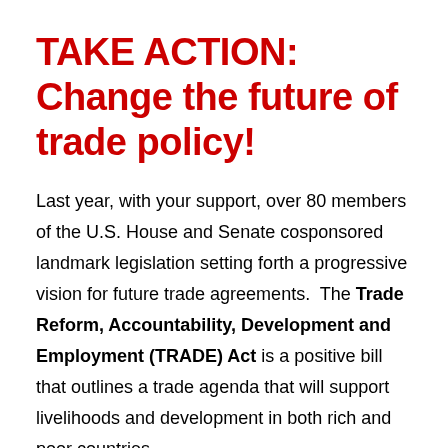TAKE ACTION: Change the future of trade policy!
Last year, with your support, over 80 members of the U.S. House and Senate cosponsored landmark legislation setting forth a progressive vision for future trade agreements.  The Trade Reform, Accountability, Development and Employment (TRADE) Act is a positive bill that outlines a trade agenda that will support livelihoods and development in both rich and poor countries.